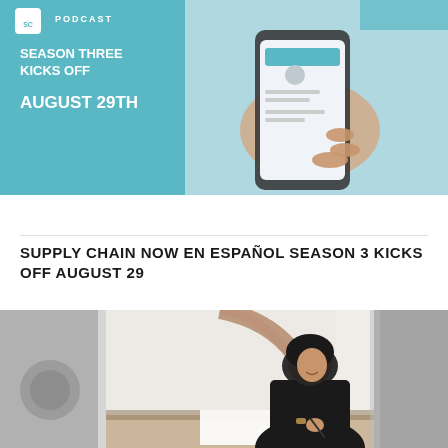[Figure (photo): Podcast promotional banner image showing a hand holding a smartphone with app interface, teal/blue background with text 'PODCAST', 'SEASON THREE KICKS OFF', 'AUGUST 29TH']
SUPPLY CHAIN NOW EN ESPAÑOL SEASON 3 KICKS OFF AUGUST 29
[Figure (photo): Photo of a woman wearing a black hijab and abaya, sitting at a desk and writing/signing a document, smiling, office setting]